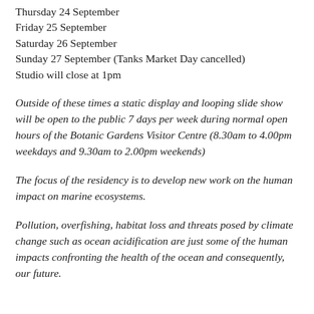Thursday 24 September
Friday 25 September
Saturday 26 September
Sunday 27 September (Tanks Market Day cancelled)
Studio will close at 1pm
Outside of these times a static display and looping slide show will be open to the public 7 days per week during normal open hours of the Botanic Gardens Visitor Centre (8.30am to 4.00pm weekdays and 9.30am to 2.00pm weekends)
The focus of the residency is to develop new work on the human impact on marine ecosystems.
Pollution, overfishing, habitat loss and threats posed by climate change such as ocean acidification are just some of the human impacts confronting the health of the ocean and consequently, our future.